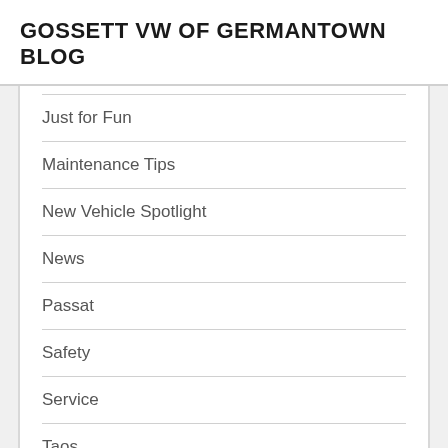GOSSETT VW OF GERMANTOWN BLOG
Just for Fun
Maintenance Tips
New Vehicle Spotlight
News
Passat
Safety
Service
Taos
Technology
Tiguan